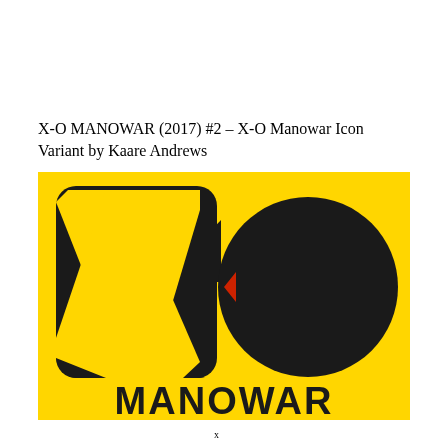X-O MANOWAR (2017) #2 – X-O Manowar Icon Variant by Kaare Andrews
[Figure (illustration): X-O Manowar comic book cover variant art showing a bold graphic design on a yellow background: a large black rounded square with an X shape cut out on the left, a large black circle on the right, a small red triangle in the center between the two shapes, and large black bold letters spelling MANOWAR across the bottom.]